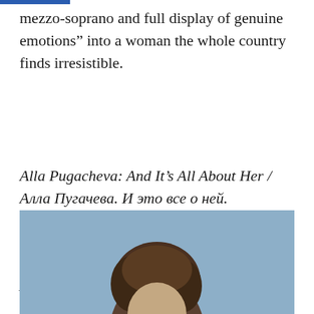mezzo-soprano and full display of genuine emotions” into a woman the whole country finds irresistible.
Alla Pugacheva: And It’s All About Her / Алла Пугачева. И это все о ней.
Who’s Who, Monday at 5:05 a.m. and 10:30 p.m.
[Figure (photo): Photo of a person with curly/wavy hair against a light blue/grey background, cropped at the bottom of the page showing the top of the head]